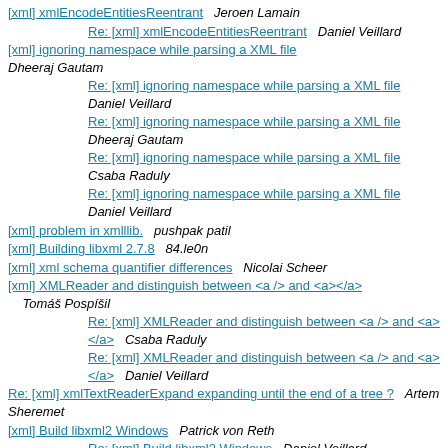[xml] xmlEncodeEntitiesReentrant   Jeroen Lamain
Re: [xml] xmlEncodeEntitiesReentrant   Daniel Veillard
[xml] ignoring namespace while parsing a XML file   Dheeraj Gautam
Re: [xml] ignoring namespace while parsing a XML file   Daniel Veillard
Re: [xml] ignoring namespace while parsing a XML file   Dheeraj Gautam
Re: [xml] ignoring namespace while parsing a XML file   Csaba Raduly
Re: [xml] ignoring namespace while parsing a XML file   Daniel Veillard
[xml] problem in xmlllib.   pushpak patil
[xml] Building libxml 2.7.8   84.le0n
[xml] xml schema quantifier differences   Nicolai Scheer
[xml] XMLReader and distinguish between <a /> and <a></a>   Tomáš Pospíšil
Re: [xml] XMLReader and distinguish between <a /> and <a></a>   Csaba Raduly
Re: [xml] XMLReader and distinguish between <a /> and <a></a>   Daniel Veillard
Re: [xml] xmlTextReaderExpand expanding until the end of a tree ?   Artem Sheremet
[xml] Build libxml2 Windows   Patrick von Reth
Re: [xml] Build libxml2 Windows   Daniel Veillard
Re: [xml] Build libxml2 Windows   Patrick von Reth
Re: [xml] Build libxml2 Windows   Daniel Veillard
Re: [xml] Build libxml2 Windows   Roumen Petrov